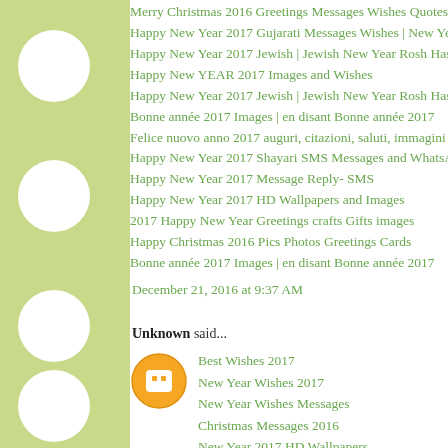Merry Christmas 2016 Greetings Messages Wishes Quotes
Happy New Year 2017 Gujarati Messages Wishes | New Ye
Happy New Year 2017 Jewish | Jewish New Year Rosh Hash
Happy New YEAR 2017 Images and Wishes
Happy New Year 2017 Jewish | Jewish New Year Rosh Hash
Bonne année 2017 Images | en disant Bonne année 2017
Felice nuovo anno 2017 auguri, citazioni, saluti, immagini
Happy New Year 2017 Shayari SMS Messages and WhatsAp
Happy New Year 2017 Message Reply- SMS
Happy New Year 2017 HD Wallpapers and Images
2017 Happy New Year Greetings crafts Gifts images
Happy Christmas 2016 Pics Photos Greetings Cards
Bonne année 2017 Images | en disant Bonne année 2017
December 21, 2016 at 9:37 AM
Unknown said...
Best Wishes 2017
New Year Wishes 2017
New Year Wishes Messages
Christmas Messages 2016
New Year 2017 HD Wallpapers
New Year Messages 2017